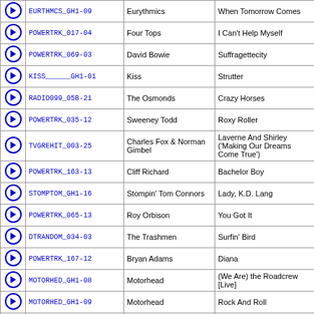|  | Code | Artist | Song |
| --- | --- | --- | --- |
| ▶ | EURTHMCS_GH1-09 | Eurythmics | When Tomorrow Comes |
| ▶ | POWERTRK_017-04 | Four Tops | I Can't Help Myself |
| ▶ | POWERTRK_069-03 | David Bowie | Suffragettecity |
| ▶ | KISS______GH1-01 | Kiss | Strutter |
| ▶ | RADIO099_05B-21 | The Osmonds | Crazy Horses |
| ▶ | POWERTRK_035-12 | Sweeney Todd | Roxy Roller |
| ▶ | TVGREHIT_003-25 | Charles Fox & Norman Gimbel | Laverne And Shirley ('Making Our Dreams Come True') |
| ▶ | POWERTRK_163-13 | Cliff Richard | Bachelor Boy |
| ▶ | STOMPTOM_GH1-16 | Stompin' Tom Connors | Lady, K.D. Lang |
| ▶ | POWERTRK_065-13 | Roy Orbison | You Got It |
| ▶ | DTRANDOM_034-03 | The Trashmen | Surfin' Bird |
| ▶ | POWERTRK_167-12 | Bryan Adams | Diana |
| ▶ | MOTORHED_GH1-08 | Motorhead | (We Are) the Roadcrew [Live] |
| ▶ | MOTORHED_GH1-09 | Motorhead | Rock And Roll |
| ▶ | QNSRYCHE_OPM-09 | Queensryche | The Needle Lies |
| ▶ | BEATLES__HDN-11 | The Beatles | When I Get Home |
| ▶ | PARTYTIM_005-07 | Martha Reeves & The Vandellas | Dancing in the Street |
| ▶ | EDDIEMNY_RHR-03 | Eddie Money | Another Nice Day in L.A. |
| ▶ | FROSH_____MY1-11 | Jackyl | The Lumberjack |
| ▶ | VANHALEN_FUC-01 | Van Halen | Poundcake |